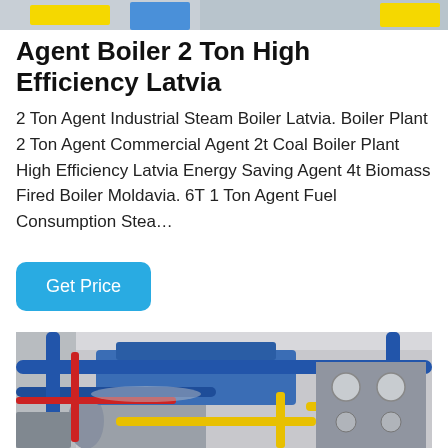[Figure (photo): Top portion of industrial boiler equipment with yellow and blue components visible against white background]
Agent Boiler 2 Ton High Efficiency Latvia
2 Ton Agent Industrial Steam Boiler Latvia. Boiler Plant 2 Ton Agent Commercial Agent 2t Coal Boiler Plant High Efficiency Latvia Energy Saving Agent 4t Biomass Fired Boiler Moldavia. 6T 1 Ton Agent Fuel Consumption Stea…
[Figure (photo): Industrial boiler room with large cylindrical boilers, blue pipes, red pipes, and yellow gas pipes with pressure gauges and valves]
Get Price